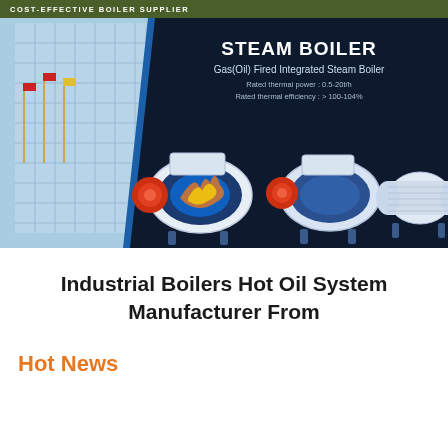COST-EFFECTIVE BOILER SUPPLIER
[Figure (photo): Banner showing industrial steam boilers with building facade on left. Title reads STEAM BOILER, subtitle Gas(Oil) Fired Integrated Steam Boiler, Rated thermal power: 0.5-20t/h, Rated thermal efficiency: > 100-104%. Three boiler units shown on dark blue background.]
Industrial Boilers Hot Oil System Manufacturer From
Hot News